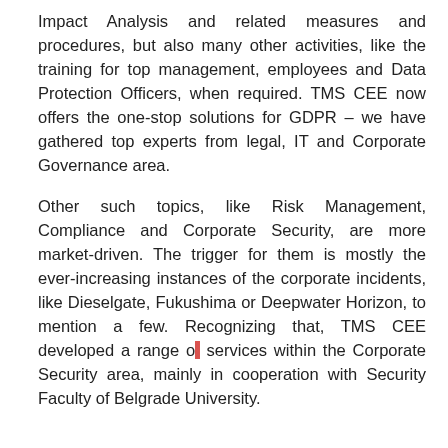Impact Analysis and related measures and procedures, but also many other activities, like the training for top management, employees and Data Protection Officers, when required. TMS CEE now offers the one-stop solutions for GDPR – we have gathered top experts from legal, IT and Corporate Governance area.
Other such topics, like Risk Management, Compliance and Corporate Security, are more market-driven. The trigger for them is mostly the ever-increasing instances of the corporate incidents, like Dieselgate, Fukushima or Deepwater Horizon, to mention a few. Recognizing that, TMS CEE developed a range of services within the Corporate Security area, mainly in cooperation with Security Faculty of Belgrade University.